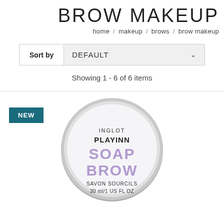BROW MAKEUP
home / makeup / brows / brow makeup
Sort by DEFAULT
Showing 1 - 6 of 6 items
[Figure (photo): Inglot Playinn Soap Brow product in a round silver tin. Label reads: INGLOT PLAYINN SOAP BROW SAVON SOURCILS 30 ml/1 US FL OZ. NEW badge in teal.]